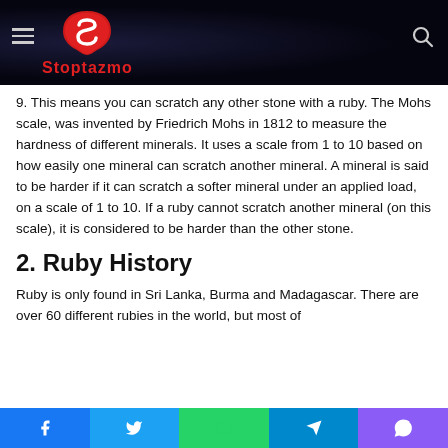Stoptazmo
9. This means you can scratch any other stone with a ruby. The Mohs scale, was invented by Friedrich Mohs in 1812 to measure the hardness of different minerals. It uses a scale from 1 to 10 based on how easily one mineral can scratch another mineral. A mineral is said to be harder if it can scratch a softer mineral under an applied load, on a scale of 1 to 10. If a ruby cannot scratch another mineral (on this scale), it is considered to be harder than the other stone.
2. Ruby History
Ruby is only found in Sri Lanka, Burma and Madagascar. There are over 60 different rubies in the world, but most of
Facebook Twitter WhatsApp Telegram Viber